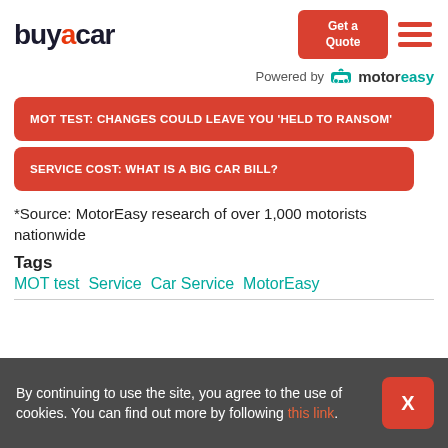buyacar | Get a Quote
Powered by motoreasy
MOT TEST: CHANGES COULD LEAVE YOU 'HELD TO RANSOM'
SERVICE COST: WHAT IS A BIG CAR BILL?
*Source: MotorEasy research of over 1,000 motorists nationwide
Tags
MOT test Service Car Service MotorEasy
By continuing to use the site, you agree to the use of cookies. You can find out more by following this link.